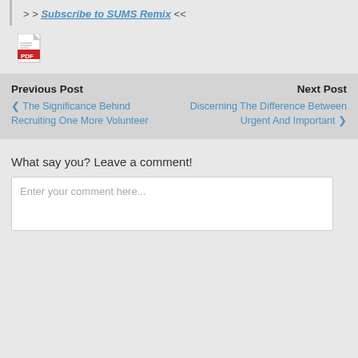>> Subscribe to SUMS Remix <<
[Figure (other): PDF file icon (red Adobe PDF logo)]
Previous Post
Next Post
< The Significance Behind Recruiting One More Volunteer
Discerning The Difference Between Urgent And Important >
What say you? Leave a comment!
Enter your comment here...